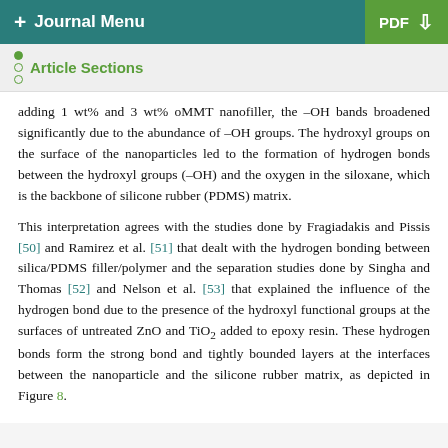+ Journal Menu   PDF ↓
Article Sections
adding 1 wt% and 3 wt% oMMT nanofiller, the –OH bands broadened significantly due to the abundance of –OH groups. The hydroxyl groups on the surface of the nanoparticles led to the formation of hydrogen bonds between the hydroxyl groups (–OH) and the oxygen in the siloxane, which is the backbone of silicone rubber (PDMS) matrix.
This interpretation agrees with the studies done by Fragiadakis and Pissis [50] and Ramirez et al. [51] that dealt with the hydrogen bonding between silica/PDMS filler/polymer and the separation studies done by Singha and Thomas [52] and Nelson et al. [53] that explained the influence of the hydrogen bond due to the presence of the hydroxyl functional groups at the surfaces of untreated ZnO and TiO2 added to epoxy resin. These hydrogen bonds form the strong bond and tightly bounded layers at the interfaces between the nanoparticle and the silicone rubber matrix, as depicted in Figure 8.